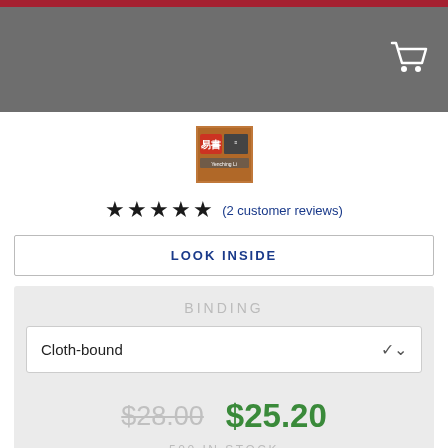[Figure (screenshot): Top portion of a book product page showing a grey header bar with red stripe and a cart icon]
[Figure (photo): Small thumbnail image of a book cover with Chinese characters and text 'Yenching Library']
★★★★★ (2 customer reviews)
LOOK INSIDE
BINDING
Cloth-bound
$28.00  $25.20
500 IN STOCK
1